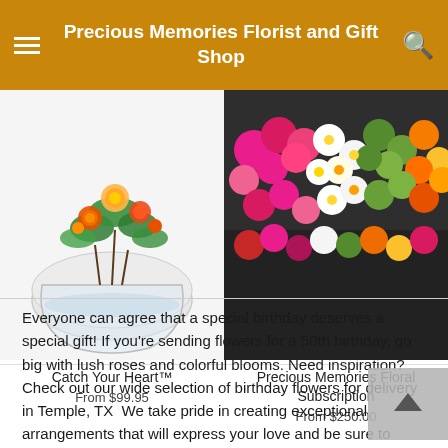Precious Memories Florist and Gift Shop
[Figure (photo): Flower arrangement in a round glass bowl vase with roses and greenery]
[Figure (photo): Colorful mixed flowers for floral subscription]
Catch Your Heart™
From $99.95
Precious Memories Floral Subscription
From $250.00
Everyone can agree that a special birthday deserves a special gift! If you're sending flowers for a 50th birthday, go big with lush roses and colorful blooms. Need inspiration? Check out our wide selection of birthday flowers for delivery in Temple, TX  We take pride in creating exceptional arrangements that will express your love and be sure to delight.